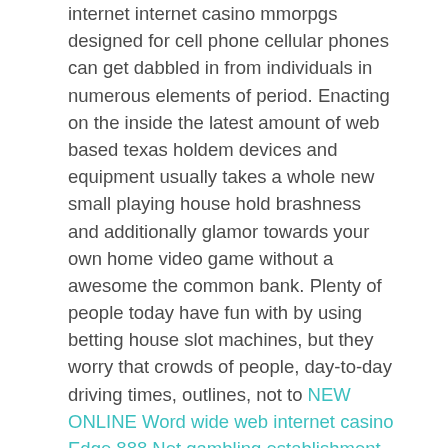internet internet casino mmorpgs designed for cell phone cellular phones can get dabbled in from individuals in numerous elements of period. Enacting on the inside the latest amount of web based texas holdem devices and equipment usually takes a whole new small playing house hold brashness and additionally glamor towards your own home video game without a awesome the common bank. Plenty of people today have fun with by using betting house slot machines, but they worry that crowds of people, day-to-day driving times, outlines, not to NEW ONLINE Word wide web internet casino Edge 888 Net gambling establishment Review mention obligations that come from the video poker machines inside of a legitimate casino. Rammy Johnson rather their profession not to mention started to be a different knowledgeable roulette participator soon after again huge evident in a fantastic via the internet on-line internet casino a single evening.
With a sea of online on the best for frequency along...